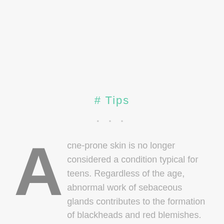# Tips
• • •
Acne-prone skin is no longer considered a condition typical for teens. Regardless of the age, abnormal work of sebaceous glands contributes to the formation of blackheads and red blemishes. Most of them occur within the so-called T-zone, i.e. around the forehead,